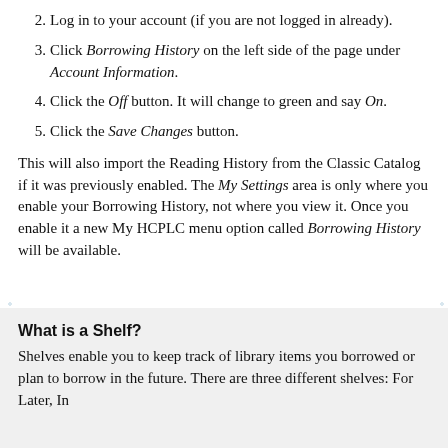2. Log in to your account (if you are not logged in already).
3. Click Borrowing History on the left side of the page under Account Information.
4. Click the Off button. It will change to green and say On.
5. Click the Save Changes button.
This will also import the Reading History from the Classic Catalog if it was previously enabled. The My Settings area is only where you enable your Borrowing History, not where you view it. Once you enable it a new My HCPLC menu option called Borrowing History will be available.
What is a Shelf?
Shelves enable you to keep track of library items you borrowed or plan to borrow in the future. There are three different shelves: For Later, In Progress, and Completed.